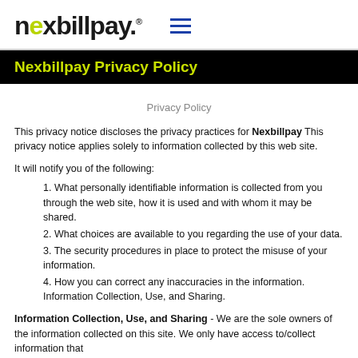nexbillpay.
Nexbillpay Privacy Policy
Privacy Policy
This privacy notice discloses the privacy practices for Nexbillpay This privacy notice applies solely to information collected by this web site.
It will notify you of the following:
1. What personally identifiable information is collected from you through the web site, how it is used and with whom it may be shared.
2. What choices are available to you regarding the use of your data.
3. The security procedures in place to protect the misuse of your information.
4. How you can correct any inaccuracies in the information. Information Collection, Use, and Sharing.
Information Collection, Use, and Sharing - We are the sole owners of the information collected on this site. We only have access to/collect information that